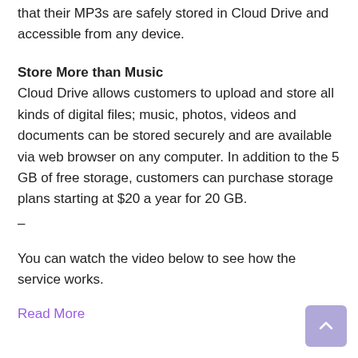that their MP3s are safely stored in Cloud Drive and accessible from any device.
Store More than Music
Cloud Drive allows customers to upload and store all kinds of digital files; music, photos, videos and documents can be stored securely and are available via web browser on any computer. In addition to the 5 GB of free storage, customers can purchase storage plans starting at $20 a year for 20 GB.
–
You can watch the video below to see how the service works.
Read More